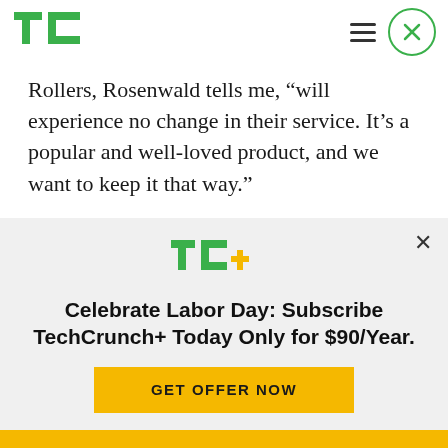[Figure (logo): TechCrunch TC green logo in header]
Rollers, Rosenwald tells me, “will experience no change in their service. It’s a popular and well-loved product, and we want to keep it that way.”
Unroll.Me is a free app that has up to now made money based on advertisements that run inside its app. For now that will remain the primary business model for the service.
[Figure (logo): TechCrunch+ TC+ green and yellow logo in promo banner]
Celebrate Labor Day: Subscribe TechCrunch+ Today Only for $90/Year.
GET OFFER NOW